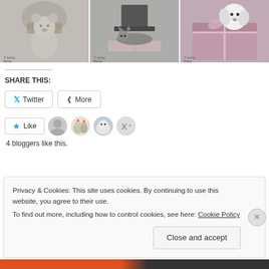[Figure (photo): Three photos: a teddy bear with scarf, a cat lying on a book, and a dog in a pink gift box, each with a watermark logo in the bottom left corner.]
SHARE THIS:
Twitter  More
Like  4 bloggers like this.
Privacy & Cookies: This site uses cookies. By continuing to use this website, you agree to their use.
To find out more, including how to control cookies, see here: Cookie Policy
Close and accept